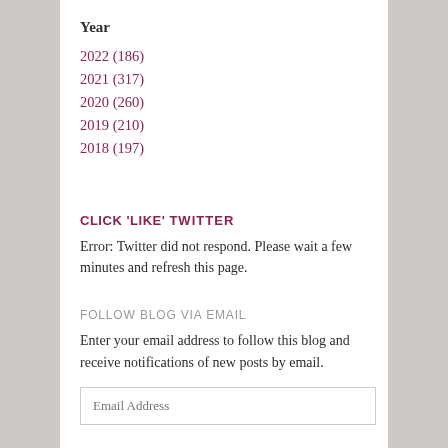Year
2022 (186)
2021 (317)
2020 (260)
2019 (210)
2018 (197)
CLICK 'LIKE'
TWITTER
Error: Twitter did not respond. Please wait a few minutes and refresh this page.
FOLLOW BLOG VIA EMAIL
Enter your email address to follow this blog and receive notifications of new posts by email.
Email Address